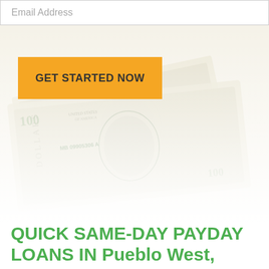Email Address
[Figure (photo): Stack of US dollar bills fanned out, faded/washed out appearance as background image]
GET STARTED NOW
QUICK SAME-DAY PAYDAY LOANS IN Pueblo West, COLORADO